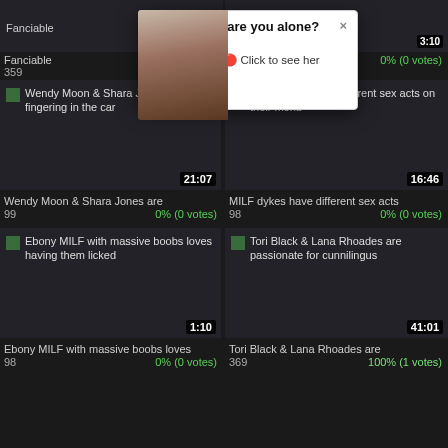[Figure (screenshot): Partial video thumbnails row at top: 'Fanciable...' label, 359 views, 0% (0 votes) and '12:07' timestamp, 98 views, 0% (0 votes)]
[Figure (screenshot): Popup notification overlay: thumbnail image of woman, '(1) Hi baby.. are you alone?' title, 'Alice (Online) Click to see her profile' text]
[Figure (screenshot): Video thumbnail: 'Wendy Moon & Shara Jones are fingering in the car', duration 21:07]
Wendy Moon & Shara Jones are
99   0% (0 votes)
[Figure (screenshot): Video thumbnail: 'MILF dykes have different sex acts on their menu', duration 16:46]
MILF dykes have different sex acts
98   0% (0 votes)
[Figure (screenshot): Video thumbnail: 'Ebony MILF with massive boobs loves having them licked', duration 1:10]
Ebony MILF with massive boobs loves
98   0% (0 votes)
[Figure (screenshot): Video thumbnail: 'Tori Black & Lana Rhoades are passionate for cunnilingus', duration 41:01]
Tori Black & Lana Rhoades are
369   100% (1 votes)